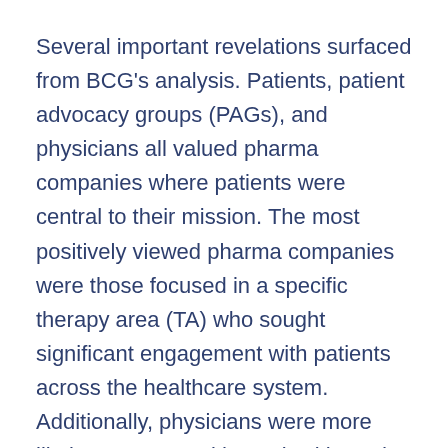Several important revelations surfaced from BCG's analysis. Patients, patient advocacy groups (PAGs), and physicians all valued pharma companies where patients were central to their mission. The most positively viewed pharma companies were those focused in a specific therapy area (TA) who sought significant engagement with patients across the healthcare system. Additionally, physicians were more likely to engage with, work with, and prescribe medication from patient-centric pharma companies.
In the past, many pharmaceutical companies remedied communication gaps by forming relationships with PAGs as their conduit to patients regarding their personal disease-related challenges. With the rise of DTx, pharma companies can now